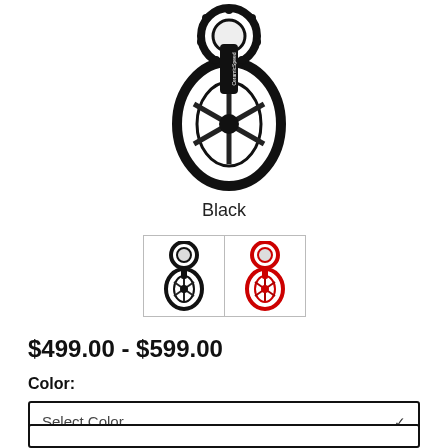[Figure (photo): Black ceramic derailleur cage/pulley wheel component shown from front angle, all black finish]
Black
[Figure (photo): Two thumbnail images of the product: left thumbnail shows black version, right thumbnail shows red/black version of the derailleur pulley cage]
$499.00 - $599.00
Color:
Select Color
Series: